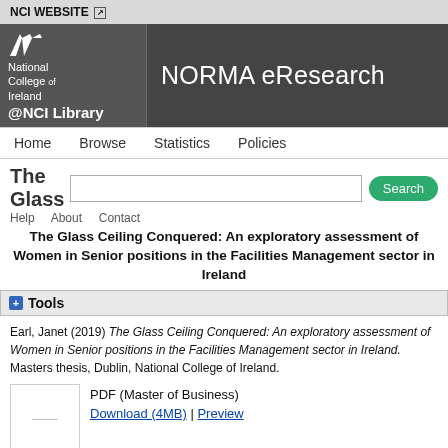NCI WEBSITE
[Figure (logo): National College of Ireland / NORMA eResearch @NCI Library banner header]
Home  Browse  Statistics  Policies
The Glass Ceiling Conquered: An exploratory assessment of Women in Senior positions in the Facilities Management sector in Ireland
+ Tools
Earl, Janet (2019) The Glass Ceiling Conquered: An exploratory assessment of Women in Senior positions in the Facilities Management sector in Ireland. Masters thesis, Dublin, National College of Ireland.
PDF (Master of Business)
Download (4MB) | Preview